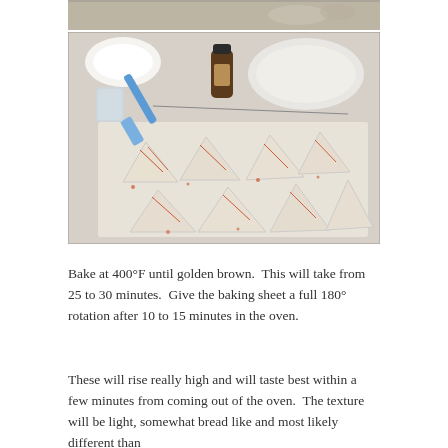[Figure (photo): Partial top of a baking photo showing dough pieces on parchment]
[Figure (photo): Photo of triangular scone dough pieces on a parchment-lined baking sheet, with red spice drizzled on top, alongside a spatula, glass bowl, small spice jar, and a white plate with flour in the background]
Bake at 400°F until golden brown. This will take from 25 to 30 minutes. Give the baking sheet a full 180° rotation after 10 to 15 minutes in the oven.
These will rise really high and will taste best within a few minutes from coming out of the oven. The texture will be light, somewhat bread like and most likely different than